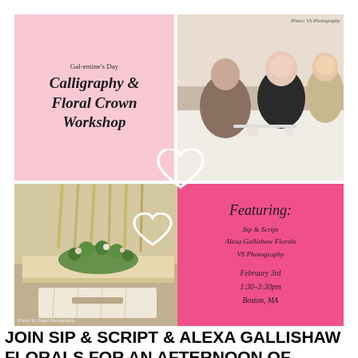[Figure (infographic): Gal-entine's Day Calligraphy & Floral Crown Workshop promotional collage with pink panels, photos of women at a workshop, floral wreath photo, hearts, and featuring details including Sip & Script, Alexa Gallishaw Florals, VS Photography, February 3rd, 1:30-3:30pm, Boston MA]
JOIN SIP & SCRIPT & ALEXA GALLISHAW FLORALS FOR AN AFTERNOON OF LEARNING CALLIGRAPHY & BUILDING